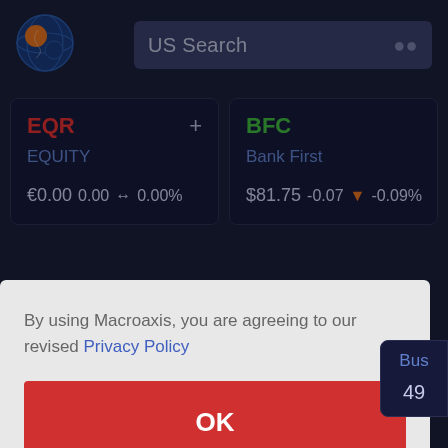[Figure (logo): Macroaxis globe logo with orange and blue colors]
US Search
EQR
EQUITY
€0.00  0.00 ↔ 0.00%
BFC
Bank First
$81.75  -0.07 ↓ -0.09%
By using Macroaxis, you are agreeing to our revised Privacy Policy
OK
Bus
49